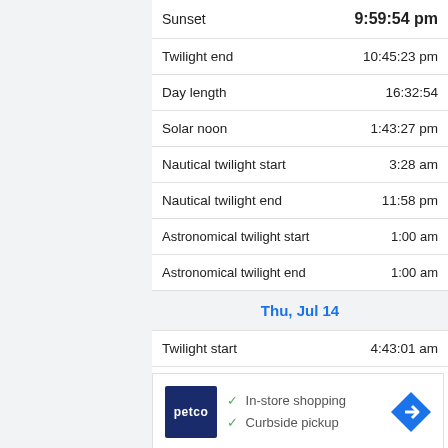| Event | Time |
| --- | --- |
| Sunset | 9:59:54 pm |
| Twilight end | 10:45:23 pm |
| Day length | 16:32:54 |
| Solar noon | 1:43:27 pm |
| Nautical twilight start | 3:28 am |
| Nautical twilight end | 11:58 pm |
| Astronomical twilight start | 1:00 am |
| Astronomical twilight end | 1:00 am |
| Thu, Jul 14 |  |
| Twilight start | 4:43:01 am |
[Figure (infographic): Petco advertisement showing in-store shopping and curbside pickup options with arrow logo]